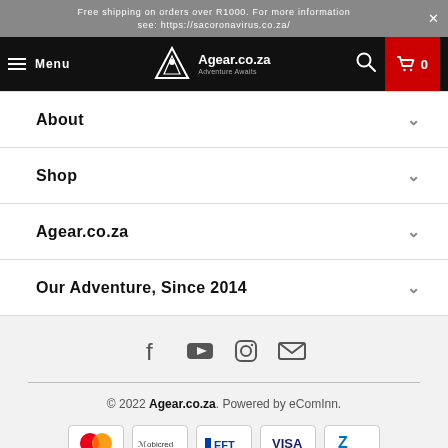Free shipping on orders over R1000. For more information see: https://sacoronavirus.co.za/
[Figure (screenshot): Navigation bar with hamburger menu, Agear.co.za logo, search icon, and red cart button showing 0 items]
About
Shop
Agear.co.za
Our Adventure, Since 2014
[Figure (infographic): Social media icons: Facebook, YouTube, Instagram, Email]
© 2022 Agear.co.za. Powered by eComInn.
[Figure (infographic): Payment method icons: Mastercard, Mobicred, EFT, Visa, Zapper]